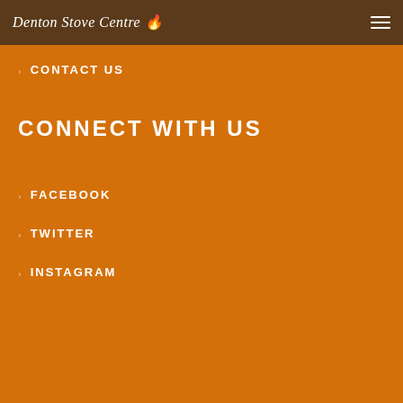Denton Stove Centre
CONTACT US
CONNECT WITH US
FACEBOOK
TWITTER
INSTAGRAM